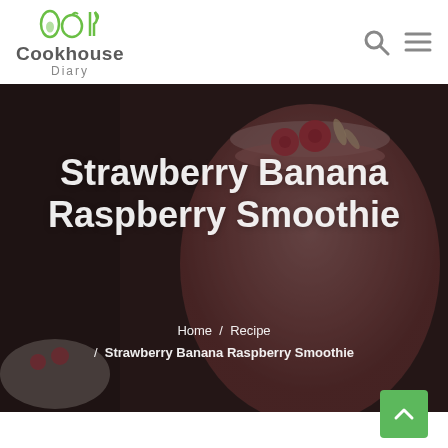Cookhouse Diary
[Figure (photo): Hero background photo of a strawberry banana raspberry smoothie in a glass with fresh raspberries on top, dark moody background]
Strawberry Banana Raspberry Smoothie
Home / Recipe / Strawberry Banana Raspberry Smoothie